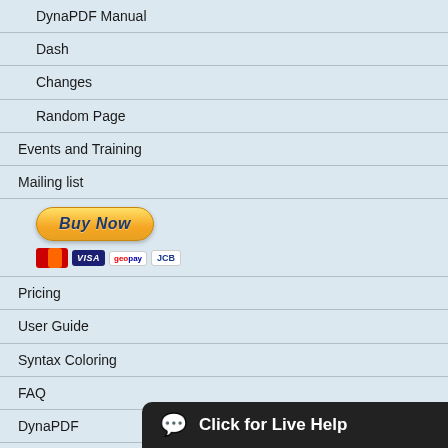DynaPDF Manual
Dash
Changes
Random Page
Events and Training
Mailing list
[Figure (other): Buy Now button with payment icons: MasterCard, VISA, geopay, JCB]
Pricing
User Guide
Syntax Coloring
FAQ
DynaPDF
LibXL
Reviews
License
Trial License
Download
Click for Live Help